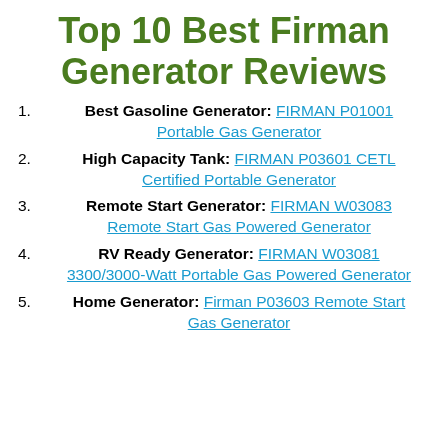Top 10 Best Firman Generator Reviews
Best Gasoline Generator: FIRMAN P01001 Portable Gas Generator
High Capacity Tank: FIRMAN P03601 CETL Certified Portable Generator
Remote Start Generator: FIRMAN W03083 Remote Start Gas Powered Generator
RV Ready Generator: FIRMAN W03081 3300/3000-Watt Portable Gas Powered Generator
Home Generator: Firman P03603 Remote Start Gas Generator